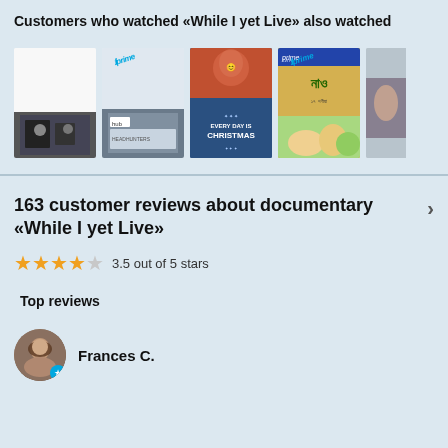Customers who watched «While I yet Live» also watched
[Figure (screenshot): Carousel of movie thumbnails: 5 movie posters/thumbnails including Prime Video badges on items 2 and 4, showing various films]
163 customer reviews about documentary «While I yet Live»
3.5 out of 5 stars
Top reviews
Frances C.